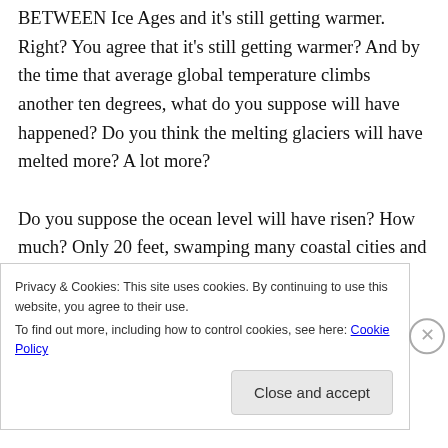BETWEEN Ice Ages and it's still getting warmer. Right? You agree that it's still getting warmer? And by the time that average global temperature climbs another ten degrees, what do you suppose will have happened? Do you think the melting glaciers will have melted more? A lot more?

Do you suppose the ocean level will have risen? How much? Only 20 feet, swamping many coastal cities and half of Florida? More? It could rise another 200 feet, did you know that? It used
Privacy & Cookies: This site uses cookies. By continuing to use this website, you agree to their use.
To find out more, including how to control cookies, see here: Cookie Policy